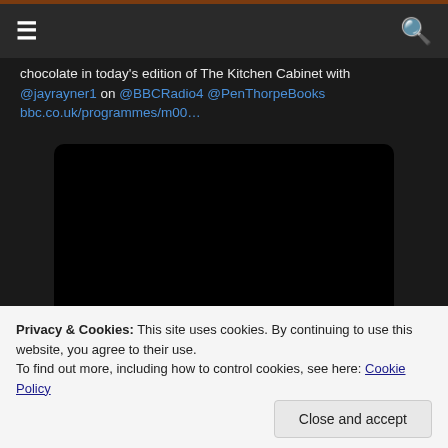Navigation bar with hamburger menu and search icon
chocolate in today's edition of The Kitchen Cabinet with @jayrayner1 on @BBCRadio4 @PenThorpeBooks bbc.co.uk/programmes/m00…
[Figure (other): Black video/media embed box with rounded corners]
Privacy & Cookies: This site uses cookies. By continuing to use this website, you agree to their use.
To find out more, including how to control cookies, see here: Cookie Policy
Close and accept